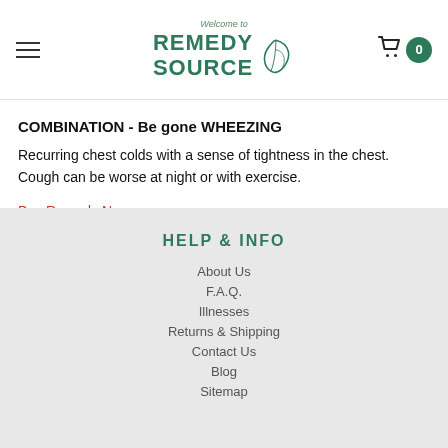Welcome to Remedy Source
COMBINATION - Be gone WHEEZING
Recurring chest colds with a sense of tightness in the chest. Cough can be worse at night or with exercise.
Buy Remedy Now
HELP & INFO
About Us
F.A.Q.
Illnesses
Returns & Shipping
Contact Us
Blog
Sitemap